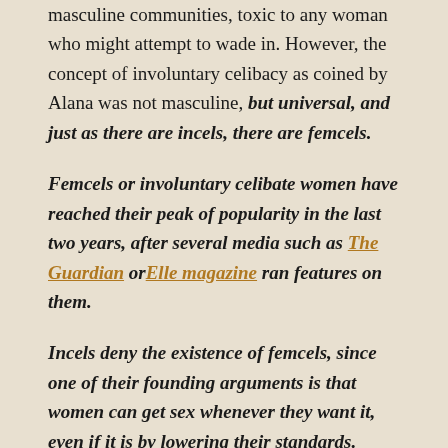masculine communities, toxic to any woman who might attempt to wade in. However, the concept of involuntary celibacy as coined by Alana was not masculine, but universal, and just as there are incels, there are femcels.
Femcels or involuntary celibate women have reached their peak of popularity in the last two years, after several media such as The Guardian or Elle magazine ran features on them.
Incels deny the existence of femcels, since one of their founding arguments is that women can get sex whenever they want it, even if it is by lowering their standards.
But femcels do exist and they also move in different